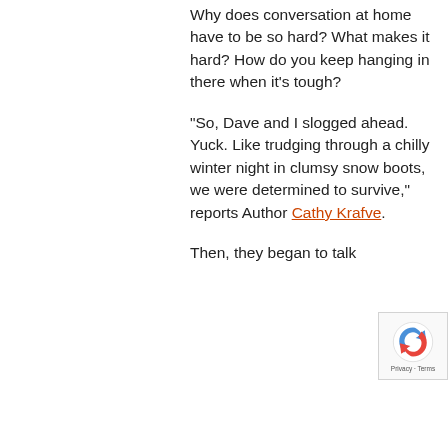Why does conversation at home have to be so hard? What makes it hard? How do you keep hanging in there when it’s tough?
“So, Dave and I slogged ahead. Yuck. Like trudging through a chilly winter night in clumsy snow boots, we were determined to survive,” reports Author Cathy Krafve.
Then, they began to talk